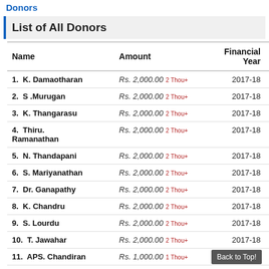Donors
List of All Donors
| Name | Amount | Financial Year |
| --- | --- | --- |
| 1. K. Damaotharan | Rs. 2,000.00 2 Thou+ | 2017-18 |
| 2. S .Murugan | Rs. 2,000.00 2 Thou+ | 2017-18 |
| 3. K. Thangarasu | Rs. 2,000.00 2 Thou+ | 2017-18 |
| 4. Thiru. Ramanathan | Rs. 2,000.00 2 Thou+ | 2017-18 |
| 5. N. Thandapani | Rs. 2,000.00 2 Thou+ | 2017-18 |
| 6. S. Mariyanathan | Rs. 2,000.00 2 Thou+ | 2017-18 |
| 7. Dr. Ganapathy | Rs. 2,000.00 2 Thou+ | 2017-18 |
| 8. K. Chandru | Rs. 2,000.00 2 Thou+ | 2017-18 |
| 9. S. Lourdu | Rs. 2,000.00 2 Thou+ | 2017-18 |
| 10. T. Jawahar | Rs. 2,000.00 2 Thou+ | 2017-18 |
| 11. APS. Chandiran | Rs. 1,000.00 1 Thou+ | 2017-18 |